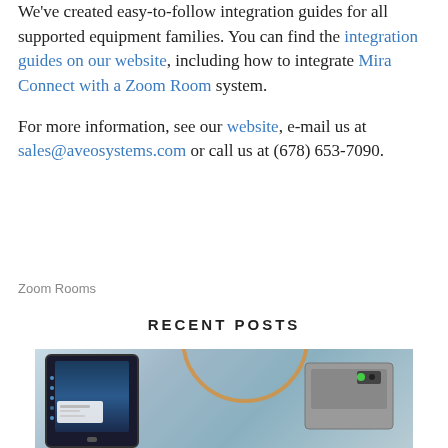We've created easy-to-follow integration guides for all supported equipment families. You can find the integration guides on our website, including how to integrate Mira Connect with a Zoom Room system.

For more information, see our website, e-mail us at sales@aveosystems.com or call us at (678) 653-7090.
Zoom Rooms
RECENT POSTS
[Figure (photo): Technology photo showing a dark tablet/touchscreen device on the left with a blue screen and side buttons, and a grey rectangular hardware device on the right with green LED indicator, set against a light blue/grey background with a partial orange circle arc overlay in the center.]